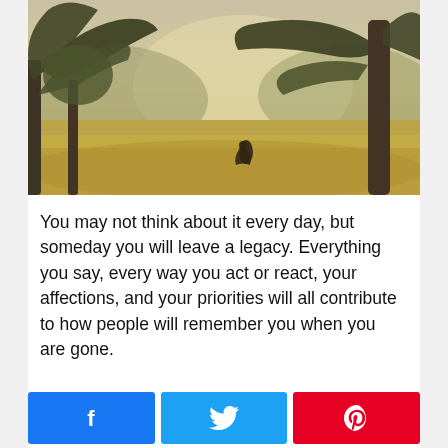[Figure (photo): A person walking through an open meadow with tall dry grass, surrounded by large oak trees with spreading branches. The scene is backlit with soft morning or evening light creating a hazy, atmospheric quality.]
You may not think about it every day, but someday you will leave a legacy. Everything you say, every way you act or react, your affections, and your priorities will all contribute to how people will remember you when you are gone.
[Figure (infographic): Three social sharing buttons in a row: Facebook (blue with f icon), Twitter (light blue with bird icon), Pinterest (red with P icon).]